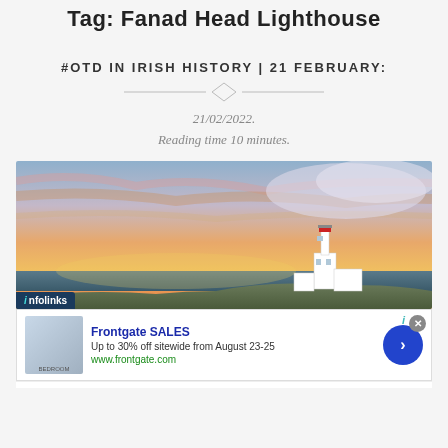Tag: Fanad Head Lighthouse
#OTD IN IRISH HISTORY | 21 FEBRUARY:
21/02/2022.
Reading time 10 minutes.
[Figure (photo): Panoramic photo of Fanad Head Lighthouse at sunset with dramatic colorful sky and clouds, lighthouse building visible on rocky headland]
[Figure (infographic): Infolinks advertisement badge overlaid on bottom-left of photo]
[Figure (infographic): Frontgate SALES advertisement banner with bedroom image, showing 'Up to 30% off sitewide from August 23-25', www.frontgate.com, navigation arrow button, close button]